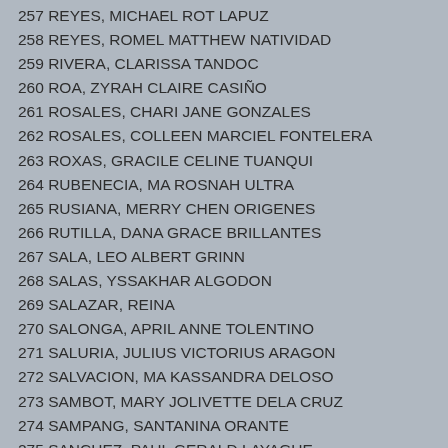257 REYES, MICHAEL ROT LAPUZ
258 REYES, ROMEL MATTHEW NATIVIDAD
259 RIVERA, CLARISSA TANDOC
260 ROA, ZYRAH CLAIRE CASIÑO
261 ROSALES, CHARI JANE GONZALES
262 ROSALES, COLLEEN MARCIEL FONTELERA
263 ROXAS, GRACILE CELINE TUANQUI
264 RUBENECIA, MA ROSNAH ULTRA
265 RUSIANA, MERRY CHEN ORIGENES
266 RUTILLA, DANA GRACE BRILLANTES
267 SALA, LEO ALBERT GRINN
268 SALAS, YSSAKHAR ALGODON
269 SALAZAR, REINA
270 SALONGA, APRIL ANNE TOLENTINO
271 SALURIA, JULIUS VICTORIUS ARAGON
272 SALVACION, MA KASSANDRA DELOSO
273 SAMBOT, MARY JOLIVETTE DELA CRUZ
274 SAMPANG, SANTANINA ORANTE
275 SANCHEZ, PAUL GERALD LAYAGUE
276 SANTILLAN, ABEGAIL IRABON
277 SATIOQUIA, KAYE DEE CARL DAGUIMOL
278 SILVESTRE, CRISTINA GERVACIO
279 SIMBORIO, RONALD ARCAMO